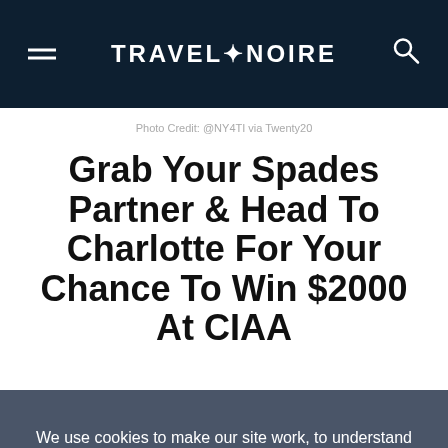TRAVEL+NOIRE
Photo Credit: @NY4TI via Twenty20
Grab Your Spades Partner & Head To Charlotte For Your Chance To Win $2000 At CIAA
We use cookies to make our site work, to understand how it is used, and to tailor advertisements presented on our site. By clicking “Accept”, you agree to us doing so. You can read more by clicking on our privacy policy here.